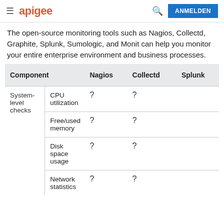apigee | ANMELDEN
The open-source monitoring tools such as Nagios, Collectd, Graphite, Splunk, Sumologic, and Monit can help you monitor your entire enterprise environment and business processes.
| Component | Nagios | Collectd | Splunk |
| --- | --- | --- | --- |
| System-level checks | CPU utilization | ? | ? |  |
|  | Free/used memory | ? | ? |  |
|  | Disk space usage | ? | ? |  |
|  | Network statistics | ? | ? |  |